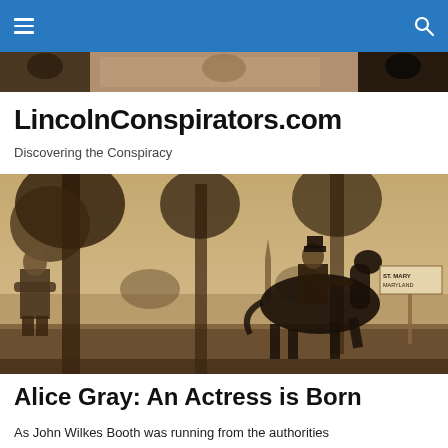LincolnConspirators.com — navigation bar
[Figure (photo): Partial sepia-toned header strip showing historical portrait photographs]
LincolnConspirators.com
Discovering the Conspiracy
[Figure (photo): Sepia-toned historical illustration showing a man seated against a tree on the left and a man on horseback on the right, with a sign reading 'ST. MARY' and 'MARYLAND' visible on the right side, trees in the background and a distant church spire]
Alice Gray: An Actress is Born
As John Wilkes Booth was running from the authorities